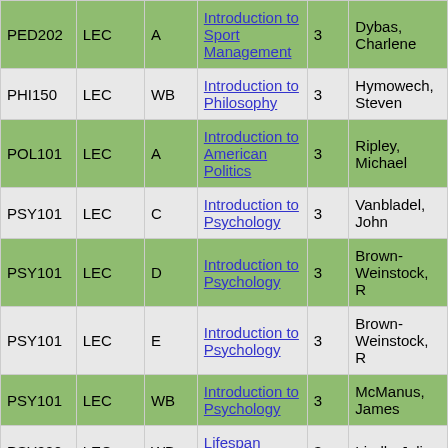| Course | Type | Sec | Title | Cr | Instructor |
| --- | --- | --- | --- | --- | --- |
| PED202 | LEC | A | Introduction to Sport Management | 3 | Dybas, Charlene |
| PHI150 | LEC | WB | Introduction to Philosophy | 3 | Hymowech, Steven |
| POL101 | LEC | A | Introduction to American Politics | 3 | Ripley, Michael |
| PSY101 | LEC | C | Introduction to Psychology | 3 | Vanbladel, John |
| PSY101 | LEC | D | Introduction to Psychology | 3 | Brown-Weinstock, R |
| PSY101 | LEC | E | Introduction to Psychology | 3 | Brown-Weinstock, R |
| PSY101 | LEC | WB | Introduction to Psychology | 3 | McManus, James |
| PSY200 | LEC | WB | Lifespan Development | 3 | Lindh, Julie |
| PSY225 | LEC | A | Counseling the Individual | 3 | Lindh, Julie |